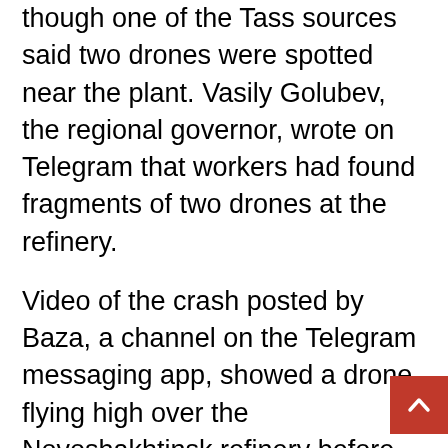though one of the Tass sources said two drones were spotted near the plant. Vasily Golubev, the regional governor, wrote on Telegram that workers had found fragments of two drones at the refinery.
Video of the crash posted by Baza, a channel on the Telegram messaging app, showed a drone flying high over the Novoshakhtinsk refinery before crashing into it and prompting an explosion. The fire ranged over a 50 sq m area before firefighters put it out, emergency services said. No casualties were reported.
While the precise type of the drone remains unclear, Ukraine Weapons Tracker, a respected open-source intelligence group, said it appeared to be based on